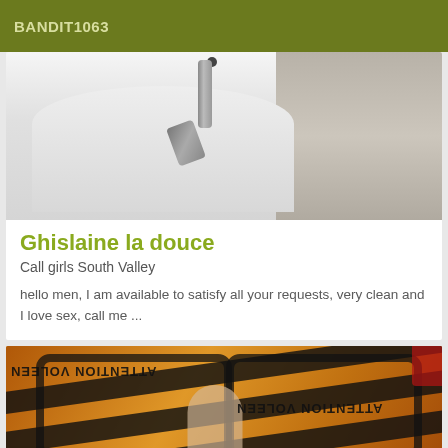BANDIT1063
[Figure (photo): Photo of a bathroom faucet and bathtub, viewed from above]
Ghislaine la douce
Call girls South Valley
hello men, I am available to satisfy all your requests, very clean and I love sex, call me ...
[Figure (photo): Photo partially obscured by warning tape overlay with text ATTENTION VOLEEN repeated]